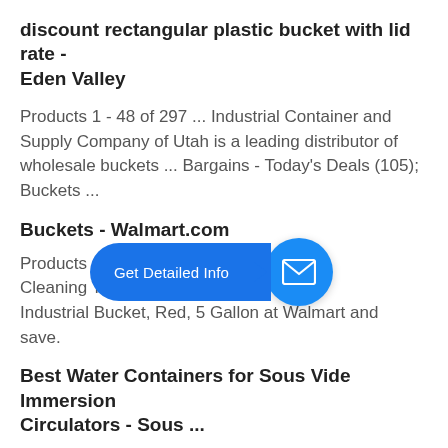discount rectangular plastic bucket with lid rate - Eden Valley
Products 1 - 48 of 297 ... Industrial Container and Supply Company of Utah is a leading distributor of wholesale buckets ... Bargains - Today's Deals (105); Buckets ...
Buckets - Walmart.com
Products 1 - 40 of 1... ...cket... Cleaning Tools. Buy... ...Pr... Industrial Bucket, Red, 5 Gallon at Walmart and save.
[Figure (other): Blue 'Get Detailed Info' call-to-action button with arrow pointing to a blue circle containing an envelope/mail icon]
Best Water Containers for Sous Vide Immersion Circulators - Sous ...
Cambro has long been a leading manufacturer of culinary food storage ... The most significant downside of using a plastic cooler as a container for